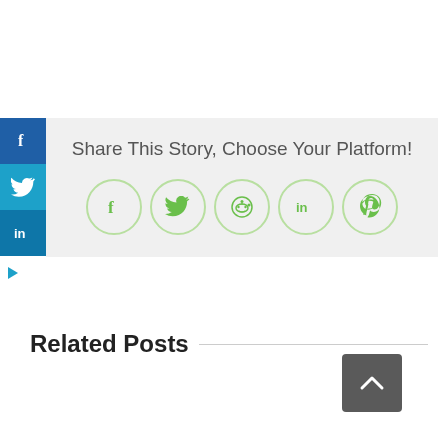[Figure (other): Vertical social sharing sidebar with Facebook (blue), Twitter (light blue), and LinkedIn (dark blue) icon buttons on the left edge]
Share This Story, Choose Your Platform!
[Figure (other): Row of five green-outlined circular social share icon buttons: Facebook, Twitter, Reddit, LinkedIn, Pinterest]
Related Posts
[Figure (other): Dark grey back-to-top button with upward chevron arrow]